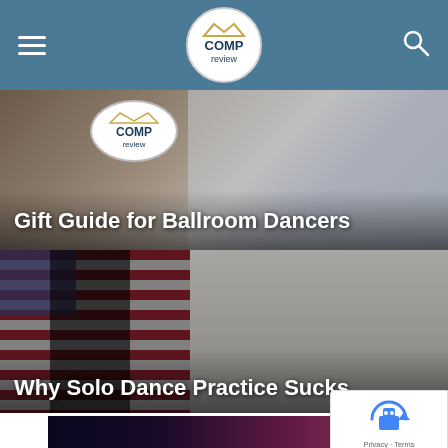Comp Review — navigation bar with hamburger menu, logo, and search icon
[Figure (photo): Article card thumbnail showing decorative reindeer wallpaper background — Gift Guide for Ballroom Dancers]
Gift Guide for Ballroom Dancers
[Figure (photo): Article card thumbnail showing dancer with arm raised in front of American flag and couple dancing in background]
Why Solo Dance Practice Sucks
[Figure (photo): Partial article card thumbnail showing couple dancing under purple/pink stage lighting]
[Figure (other): reCAPTCHA badge with robot icon, Privacy and Terms links]